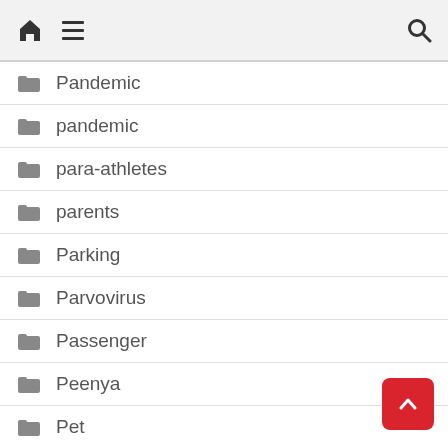Navigation bar with home, menu, and search icons
Pandemic
pandemic
para-athletes
parents
Parking
Parvovirus
Passenger
Peenya
Pet
Pets
PG college